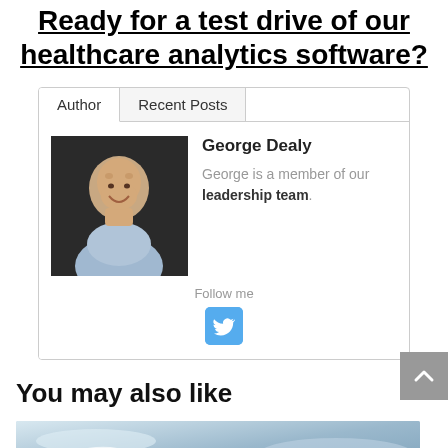Ready for a test drive of our healthcare analytics software?
[Figure (other): Author bio card with tabs (Author, Recent Posts), photo of George Dealy, name, description, Follow me text, and Twitter icon button]
[Figure (other): Scroll to top button (grey arrow up button on right side)]
You may also like
[Figure (photo): Partial preview image of a medical-related photo (stethoscope on blue/white background)]